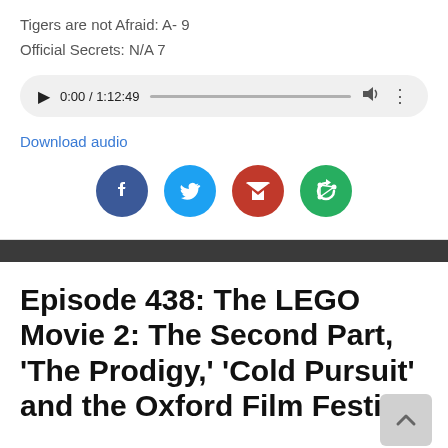Tigers are not Afraid: A- 9
Official Secrets: N/A 7
[Figure (screenshot): Audio player widget showing 0:00 / 1:12:49 with play button, progress bar, volume icon, and more options icon]
Download audio
[Figure (infographic): Four social sharing buttons: Facebook (blue), Twitter (light blue), Gmail (red), and a green share icon]
Episode 438: The LEGO Movie 2: The Second Part, 'The Prodigy,' 'Cold Pursuit' and the Oxford Film Festival